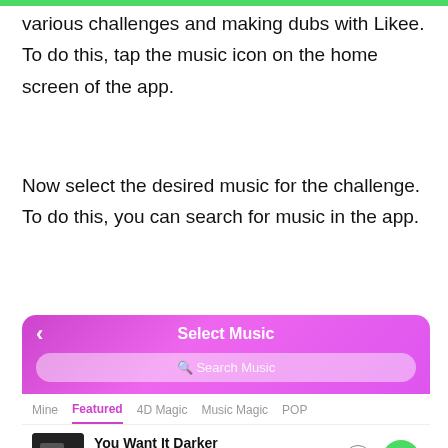various challenges and making dubs with Likee. To do this, tap the music icon on the home screen of the app.
Now select the desired music for the challenge. To do this, you can search for music in the app.
[Figure (screenshot): Screenshot of a music selection screen in the Likee app showing a purple/gradient header with 'Select Music' title, a search bar, navigation tabs (Mine, Featured, 4D Magic, Music Magic, POP), and a song entry 'You Want It Darker' by Leonard Cohen, duration 00:28, with an info button and green up arrow button.]